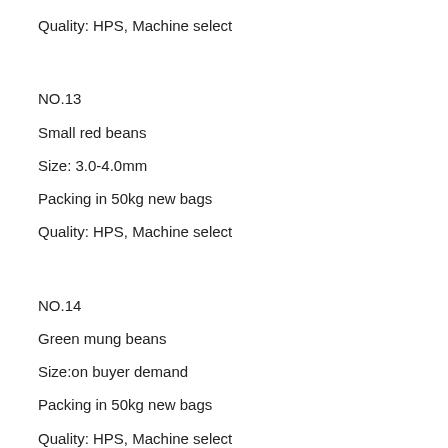Quality: HPS, Machine select
NO.13
Small red beans
Size: 3.0-4.0mm
Packing in 50kg new bags
Quality: HPS, Machine select
NO.14
Green mung beans
Size:on buyer demand
Packing in 50kg new bags
Quality: HPS, Machine select
NO.15
Soy beans
Size: 6.3mm or on buyer demand